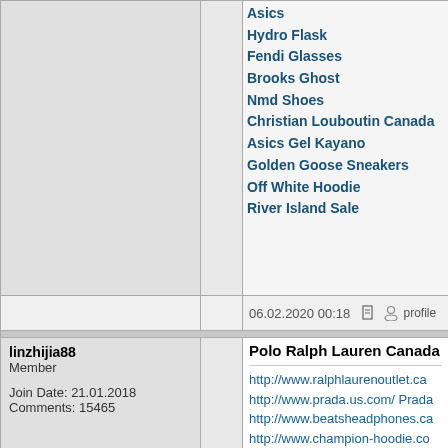Asics
Hydro Flask
Fendi Glasses
Brooks Ghost
Nmd Shoes
Christian Louboutin Canada
Asics Gel Kayano
Golden Goose Sneakers
Off White Hoodie
River Island Sale
06.02.2020 00:18
linzhijia88
Member
Join Date: 21.01.2018
Comments: 15465
Polo Ralph Lauren Canada

http://www.ralphlaurenoutlet.ca...
http://www.prada.us.com/ Prada...
http://www.beatsheadphones.ca...
http://www.champion-hoodie.co...
http://www.karenmillendressesuk...
http://www.northfacehoodie.co....
http://www.bosewirelessheadph...
http://www.adidasyeezyshoes.co...
http://www.merrell.us.org/ Merr...
http://www.woolrich.us.com/ Wo...
http://www.eccoshoesoutlet.co....
http://www.stevemadden-boots....
http://www.offwhitehoodie.us.or...
http://www.coachbagscanada.c...
http://www.keds.us.com/ Keds S...
http://www.lebron17shoes.us/ L...
http://www.airmax-270.ca/ Nike...
http://www.salvatore-ferragamo...
http://www.adidasyeezy.ca/ Yee...
http://www.hugoboss.us.org/ H...
http://www.michaelkorscanada...
http://www.bvlgaricanada.ca/ B...
http://www.river-island.org.uk...